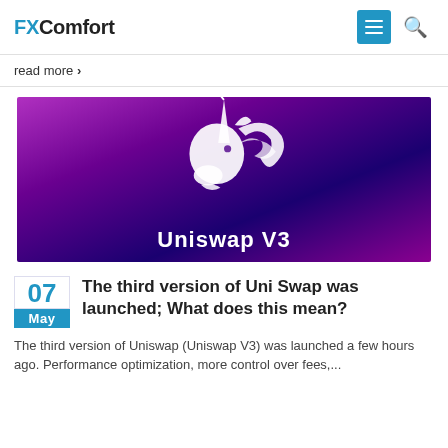FXComfort
read more ❯
[Figure (illustration): Purple gradient banner with a white unicorn logo and the text 'Uniswap V3' at the bottom]
The third version of Uni Swap was launched; What does this mean?
The third version of Uniswap (Uniswap V3) was launched a few hours ago. Performance optimization, more control over fees,...